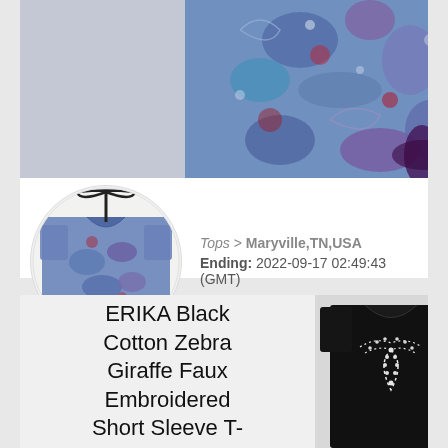[Figure (photo): Top portion of a floral/paisley patterned shirt in blue, red, and purple tones, shown as product listing image]
[Figure (photo): Thumbnail of a blue/purple floral short sleeve shirt on a hanger, shown in circular crop]
Tops > Maryville,TN,USA
Ending: 2022-09-17 02:49:43 (GMT)
ERIKA Black Cotton Zebra Giraffe Faux Embroidered Short Sleeve T-
[Figure (photo): Black short sleeve shirt with white embroidered/rhinestone leaf/butterfly design on the front]